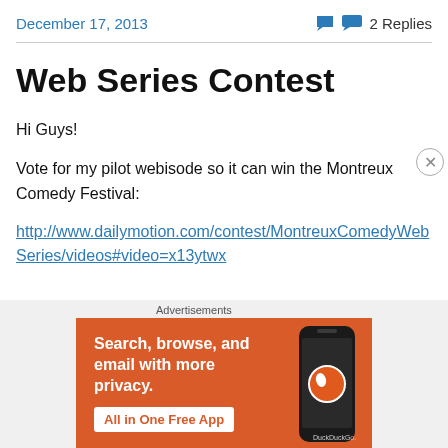December 17, 2013   💬 2 Replies
Web Series Contest
Hi Guys!
Vote for my pilot webisode so it can win the Montreux Comedy Festival:
http://www.dailymotion.com/contest/MontreuxComedyWebSeries/videos#video=x13ytwx
[Figure (screenshot): DuckDuckGo advertisement banner: orange background with text 'Search, browse, and email with more privacy. All in One Free App' and a phone image with DuckDuckGo logo]